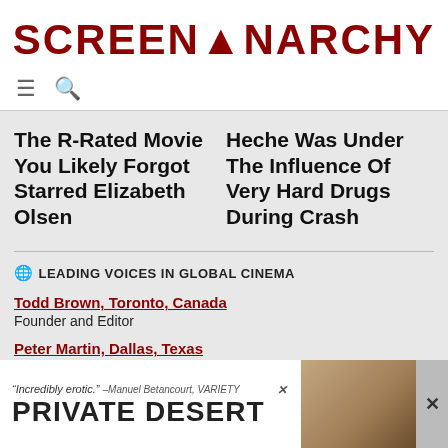SCREENANARCHY
[Figure (screenshot): Navigation icons: hamburger menu and search magnifying glass]
The R-Rated Movie You Likely Forgot Starred Elizabeth Olsen
Heche Was Under The Influence Of Very Hard Drugs During Crash
🌐 LEADING VOICES IN GLOBAL CINEMA
Todd Brown, Toronto, Canada
Founder and Editor
Peter Martin, Dallas, Texas
Managing Editor
Andrew Mack, Toronto, Canada
Editor, News
Ard Vij...
Editor, Europe
[Figure (screenshot): Advertisement banner: '"Incredibly erotic." –Manuel Betancourt, VARIETY' above 'PRIVATE DESERT' with a photo of a person and close buttons]